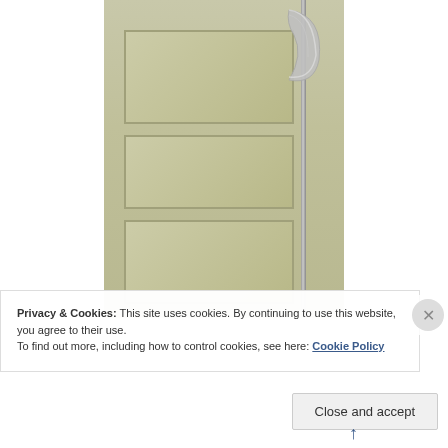[Figure (photo): A homemade scythe prop made from aluminum foil attached to a long pole/staff, leaning against a cream/beige-colored door with raised panels.]
Privacy & Cookies: This site uses cookies. By continuing to use this website, you agree to their use.
To find out more, including how to control cookies, see here: Cookie Policy
Close and accept